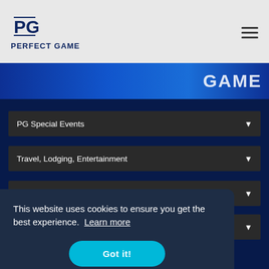PERFECT GAME
[Figure (screenshot): Blue banner with PERFECT GAME logo text partially visible]
PG Special Events
Travel, Lodging, Entertainment
PG Partners
Recommended
This website uses cookies to ensure you get the best experience. Learn more
Got it!
PERFECT GAME